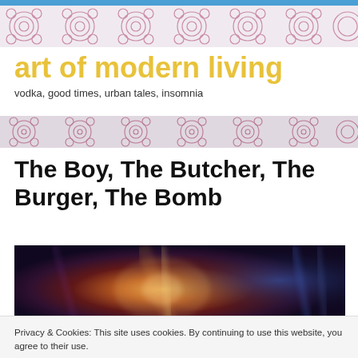art of modern living
vodka, good times, urban tales, insomnia
The Boy, The Butcher, The Burger, The Bomb
[Figure (photo): Dark moody image with warm amber/orange bokeh light in center, blue tones on right, abstract blurred background]
Privacy & Cookies: This site uses cookies. By continuing to use this website, you agree to their use.
To find out more, including how to control cookies, see here: Cookie Policy